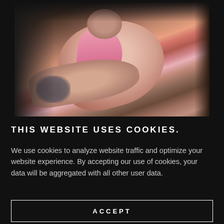[Figure (photo): Photo of a baby in a pink outfit being held by an adult with tattoos on their wrist, black background on sides]
THIS WEBSITE USES COOKIES.
We use cookies to analyze website traffic and optimize your website experience. By accepting our use of cookies, your data will be aggregated with all other user data.
ACCEPT